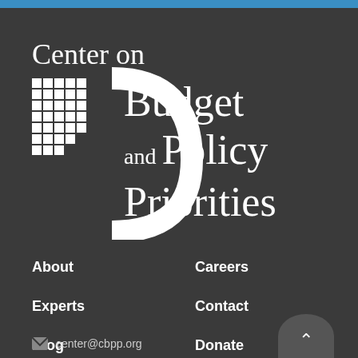[Figure (logo): Center on Budget and Policy Priorities logo — white text and grid/arc icon on dark background]
About
Careers
Experts
Contact
Blog
Donate
Press
center@cbpp.org